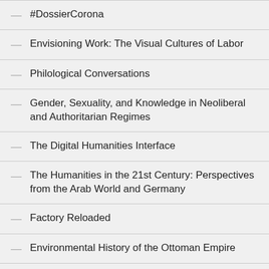#DossierCorona
Envisioning Work: The Visual Cultures of Labor
Philological Conversations
Gender, Sexuality, and Knowledge in Neoliberal and Authoritarian Regimes
The Digital Humanities Interface
The Humanities in the 21st Century: Perspectives from the Arab World and Germany
Factory Reloaded
Environmental History of the Ottoman Empire
Infrastructure and Society (Part 1) Cl…